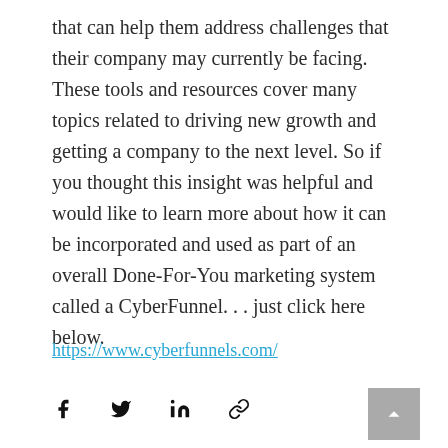that can help them address challenges that their company may currently be facing. These tools and resources cover many topics related to driving new growth and getting a company to the next level. So if you thought this insight was helpful and would like to learn more about how it can be incorporated and used as part of an overall Done-For-You marketing system called a CyberFunnel. . . just click here below.
https://www.cyberfunnels.com/